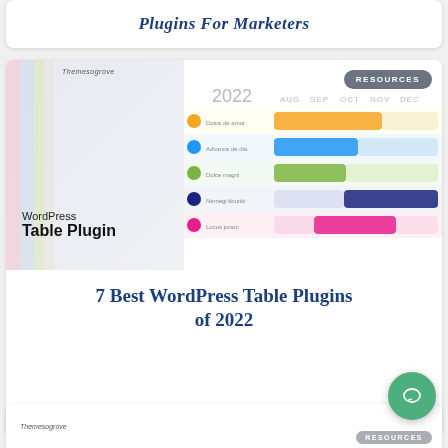Plugins For Marketers
[Figure (screenshot): Themesogrove branded image showing a WordPress Table Plugin with a Gantt chart for 2022 (AUG-DEC columns) with 5 color-coded rows. RESOURCES badge in top right.]
7 Best WordPress Table Plugins of 2022
[Figure (screenshot): Partial bottom card showing Themesogrove logo and partial RESOURCES badge]
[Figure (other): Green circular chat/comment button overlay]